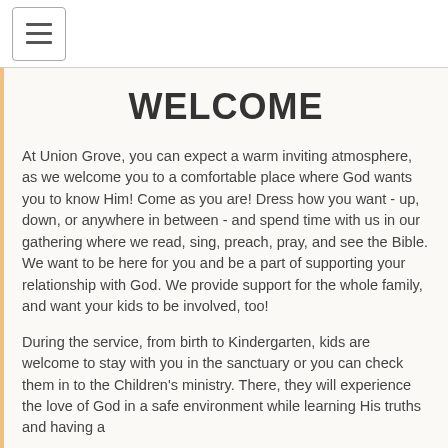☰
WELCOME
At Union Grove, you can expect a warm inviting atmosphere, as we welcome you to a comfortable place where God wants you to know Him! Come as you are! Dress how you want - up, down, or anywhere in between - and spend time with us in our gathering where we read, sing, preach, pray, and see the Bible. We want to be here for you and be a part of supporting your relationship with God. We provide support for the whole family, and want your kids to be involved, too!
During the service, from birth to Kindergarten, kids are welcome to stay with you in the sanctuary or you can check them in to the Children's ministry. There, they will experience the love of God in a safe environment while learning His truths and having a